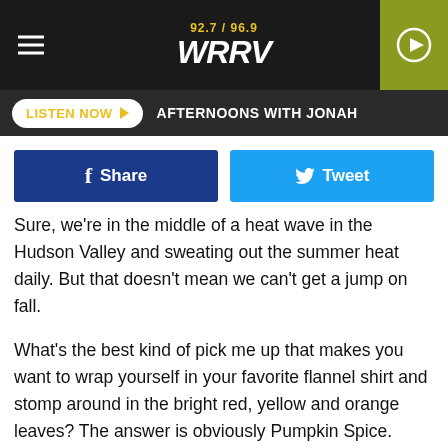92.7 / 96.9 WRRV
LISTEN NOW  AFTERNOONS WITH JONAH
[Figure (other): Facebook Share button and Twitter Tweet button]
Sure, we're in the middle of a heat wave in the Hudson Valley and sweating out the summer heat daily. But that doesn't mean we can't get a jump on fall.
What's the best kind of pick me up that makes you want to wrap yourself in your favorite flannel shirt and stomp around in the bright red, yellow and orange leaves? The answer is obviously Pumpkin Spice.
I full heartily believe that Pumpkin Spice will cure COVID-19